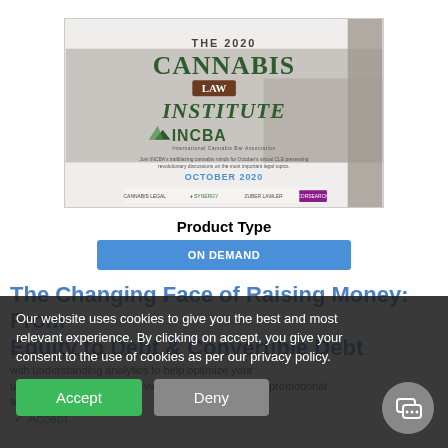[Figure (illustration): The 2020 Cannabis Law Institute event banner featuring INCBA logo, group photo of participants, sponsor logos, and event date October 2020]
Product Type
ON DEMAND
The Changing Face of Raising Money: From Equity to Debt & Convertible Debt
This session from the 2020 Cannabis Law Institute is designed to assist with understand analytics to help optimize your use of our products and services, and assist with our promotional and marketing efforts.
Our website uses cookies to give you the best and most relevant experience. By clicking on accept, you give your consent to the use of cookies as per our privacy policy.